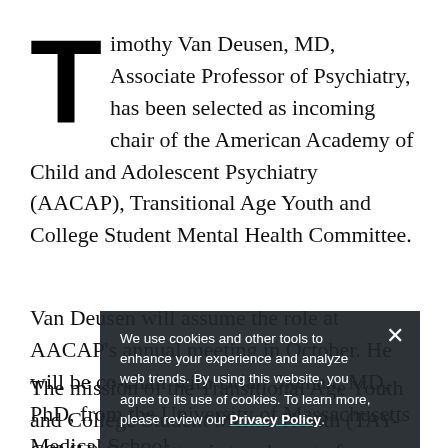Timothy Van Deusen, MD, Associate Professor of Psychiatry, has been selected as incoming chair of the American Academy of Child and Adolescent Psychiatry (AACAP), Transitional Age Youth and College Student Mental Health Committee.
Van Deusen will assume the role at AACAP's annual meeting in October. He will be co-chair with Brian Skehan, MD, PhD, from the University of Massachusetts Medical School.
The mission of the Transitional Age Youth and College Student Mental Health (TAY-CSMH) Committee is to advocate for developmentally
We use cookies and other tools to enhance your experience and analyze web trends. By using this website, you agree to its use of cookies. To learn more, please review our Privacy Policy.